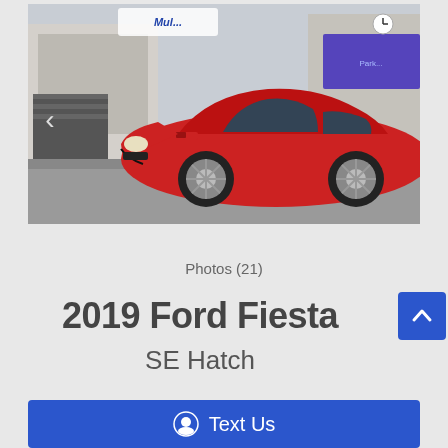[Figure (photo): Red 2019 Ford Fiesta SE Hatchback parked in front of a car dealership. The car is facing left, photographed from a 3/4 front angle. A dealership logo is visible in the top-left corner. A blue awning is visible on the right side. A blue banner at the bottom shows contact info: CALL: 330-825-7785, TEXT: 330-294-9386, and a 360 Virtual Tour notice.]
Photos (21)
2019 Ford Fiesta
SE Hatch
Text Us